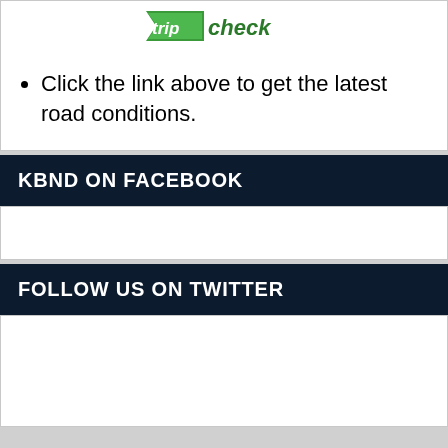[Figure (logo): TripCheck logo with green checkmark and italic green/dark text]
Click the link above to get the latest road conditions.
KBND ON FACEBOOK
FOLLOW US ON TWITTER